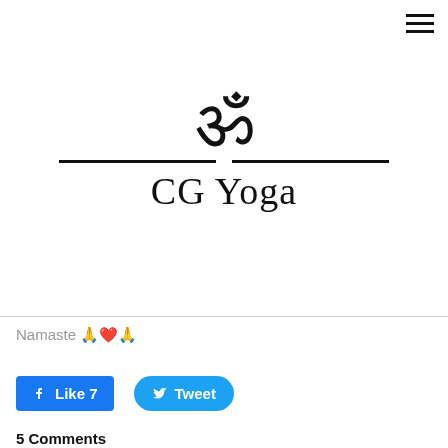[Figure (logo): CG Yoga logo with Om symbol and horizontal rules]
Namaste 🙏❤️🙏
[Figure (screenshot): Facebook Like 7 button]
[Figure (screenshot): Twitter Tweet button]
5 Comments